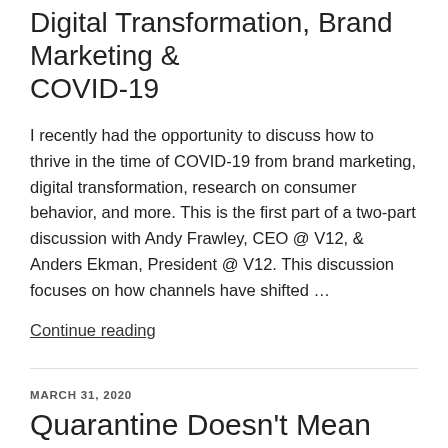Digital Transformation, Brand Marketing & COVID-19
I recently had the opportunity to discuss how to thrive in the time of COVID-19 from brand marketing, digital transformation, research on consumer behavior, and more. This is the first part of a two-part discussion with Andy Frawley, CEO @ V12, & Anders Ekman, President @ V12. This discussion focuses on how channels have shifted …
Continue reading
MARCH 31, 2020
Quarantine Doesn't Mean Isolation for Gamers
Futurithmic published my latest article covering how